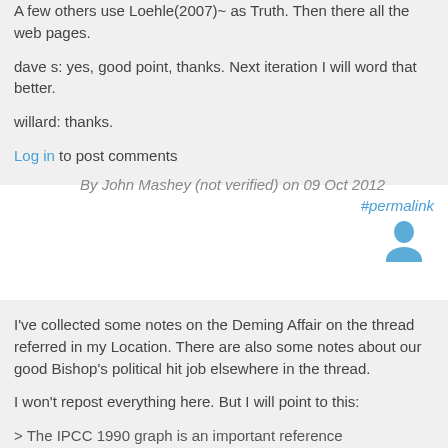A few others use Loehle(2007)~ as Truth. Then there all the web pages.
dave s: yes, good point, thanks. Next iteration I will word that better.
willard: thanks.
Log in to post comments
By John Mashey (not verified) on 09 Oct 2012
#permalink
[Figure (illustration): User avatar icon in blue]
I've collected some notes on the Deming Affair on the thread referred in my Location. There are also some notes about our good Bishop's political hit job elsewhere in the thread.
I won't repost everything here. But I will point to this:
> The IPCC 1990 graph is an important reference